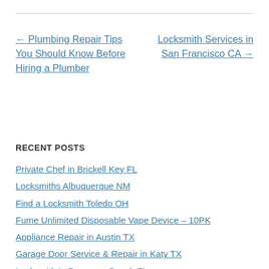← Plumbing Repair Tips You Should Know Before Hiring a Plumber
Locksmith Services in San Francisco CA →
RECENT POSTS
Private Chef in Brickell Key FL
Locksmiths Albuquerque NM
Find a Locksmith Toledo OH
Fume Unlimited Disposable Vape Device – 10PK
Appliance Repair in Austin TX
Garage Door Service & Repair in Katy TX
Locksmith in Pompano Beach FL